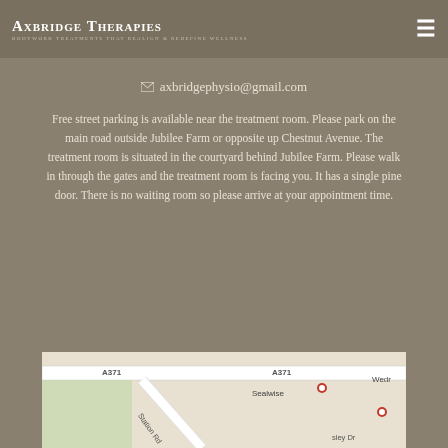Axbridge Therapies — Bodywork Treatments that Realign & Redefine Wellness
✉ axbridgephysio@gmail.com
Free street parking is available near the treatment room. Please park on the main road outside Jubilee Farm or opposite up Chestnut Avenue. The treatment room is situated in the courtyard behind Jubilee Farm. Please walk in through the gates and the treatment room is facing you. It has a single pine door. There is no waiting room so please arrive at your appointment time.
[Figure (map): Street map showing A371 road, Station Rd, Sealwise, and surrounding area near Jubilee Farm in Axbridge]